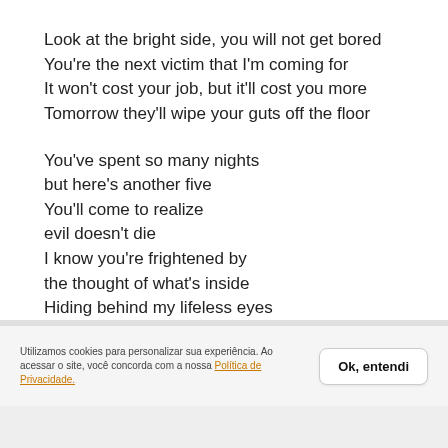Look at the bright side, you will not get bored
You're the next victim that I'm coming for
It won't cost your job, but it'll cost you more
Tomorrow they'll wipe your guts off the floor
You've spent so many nights
but here's another five
You'll come to realize
evil doesn't die
I know you're frightened by
the thought of what's inside
Hiding behind my lifeless eyes
Utilizamos cookies para personalizar sua experiência. Ao acessar o site, você concorda com a nossa Política de Privacidade.
Ok, entendi